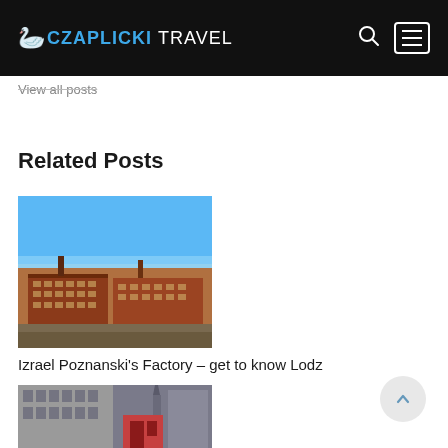CZAPLICKI TRAVEL
View all posts
Related Posts
[Figure (photo): Aerial view of Izrael Poznanski's Factory complex in Lodz, Poland – red brick industrial buildings under a clear blue sky]
Izrael Poznanski's Factory – get to know Lodz
[Figure (photo): Street-level view of Edinburgh historic stone buildings and cathedral spire]